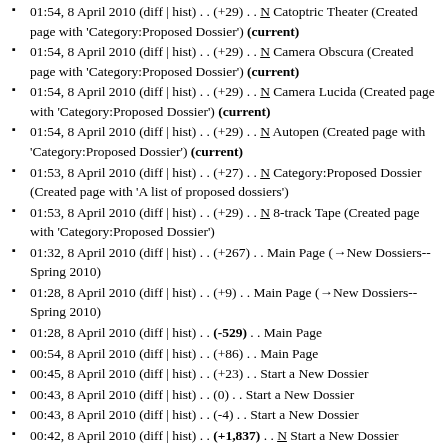01:54, 8 April 2010 (diff | hist) . . (+29) . . N Catoptric Theater (Created page with 'Category:Proposed Dossier') (current)
01:54, 8 April 2010 (diff | hist) . . (+29) . . N Camera Obscura (Created page with 'Category:Proposed Dossier') (current)
01:54, 8 April 2010 (diff | hist) . . (+29) . . N Camera Lucida (Created page with 'Category:Proposed Dossier') (current)
01:54, 8 April 2010 (diff | hist) . . (+29) . . N Autopen (Created page with 'Category:Proposed Dossier') (current)
01:53, 8 April 2010 (diff | hist) . . (+27) . . N Category:Proposed Dossier (Created page with 'A list of proposed dossiers')
01:53, 8 April 2010 (diff | hist) . . (+29) . . N 8-track Tape (Created page with 'Category:Proposed Dossier')
01:32, 8 April 2010 (diff | hist) . . (+267) . . Main Page (→New Dossiers--Spring 2010)
01:28, 8 April 2010 (diff | hist) . . (+9) . . Main Page (→New Dossiers--Spring 2010)
01:28, 8 April 2010 (diff | hist) . . (-529) . . Main Page
00:54, 8 April 2010 (diff | hist) . . (+86) . . Main Page
00:45, 8 April 2010 (diff | hist) . . (+23) . . Start a New Dossier
00:43, 8 April 2010 (diff | hist) . . (0) . . Start a New Dossier
00:43, 8 April 2010 (diff | hist) . . (-4) . . Start a New Dossier
00:42, 8 April 2010 (diff | hist) . . (+1,837) . . N Start a New Dossier (Created page with '== Step 1: Create the Dossier == === Using the URL === You can use the wiki's URL for